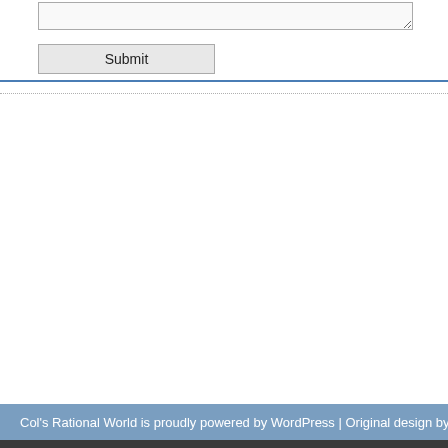[Figure (screenshot): Partial view of a WordPress comment form showing a textarea box at the top and a Submit button below it, followed by a blue horizontal rule and a dotted separator line. The bottom shows the site footer bar.]
Col's Rational World is proudly powered by WordPress | Original design by Bob | Top